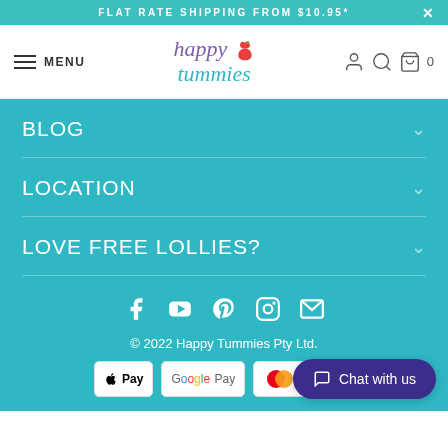FLAT RATE SHIPPING FROM $10.95*
[Figure (logo): Happy Tummies logo with apple icon, purple and teal text]
BLOG
LOCATION
LOVE FREE LOLLIES?
[Figure (infographic): Social media icons: Facebook, YouTube, Pinterest, Instagram, Email]
© 2022 Happy Tummies Pty Ltd.
[Figure (infographic): Payment badges: Apple Pay, Google Pay, Mastercard, PayPal]
Chat with us